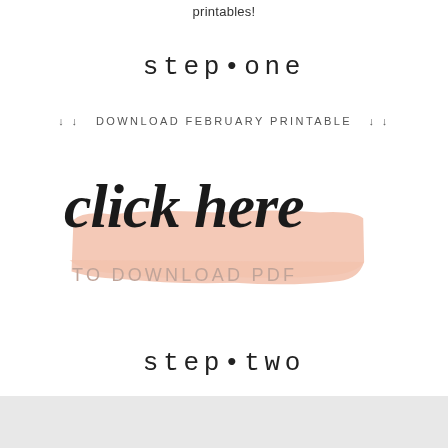printables!
step • one
↓ ↓  DOWNLOAD FEBRUARY PRINTABLE  ↓ ↓
[Figure (illustration): Pink brush stroke background with 'click here' in large bold italic script font and 'TO DOWNLOAD PDF' in smaller spaced caps below]
step • two
[Figure (illustration): Light gray rectangle at bottom of page]